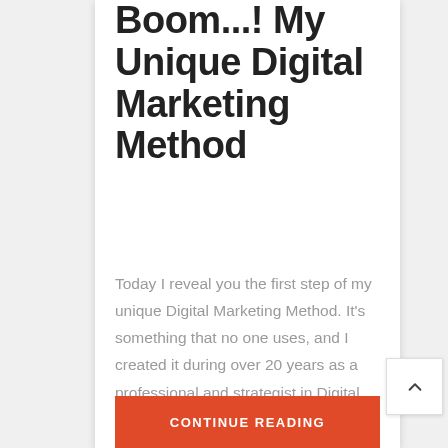Boom...! My Unique Digital Marketing Method
Today I reveal you the first step of my unique Digital Marketing Method. It's something that no one uses, and I created it during over 20 years as a professional and strategist in Digital Marketing. Only people, entrepreneurs and managers that participate to my seminars know...
CONTINUE READING